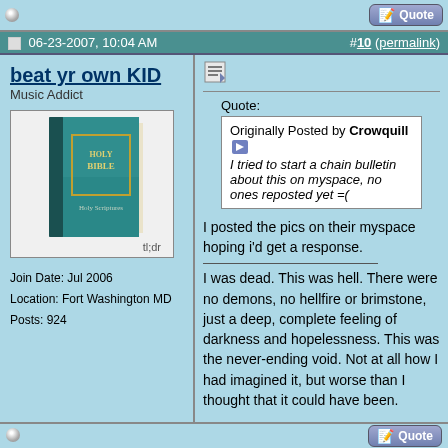06-23-2007, 10:04 AM   #10 (permalink)
beat yr own KID
Music Addict
[Figure (photo): Avatar image showing a Holy Bible book with 'tl;dr' caption]
Join Date: Jul 2006
Location: Fort Washington MD
Posts: 924
Quote:
Originally Posted by Crowquill
I tried to start a chain bulletin about this on myspace, no ones reposted yet =(
I posted the pics on their myspace hoping i'd get a response.
__________________
I was dead. This was hell. There were no demons, no hellfire or brimstone, just a deep, complete feeling of darkness and hopelessness. This was the never-ending void. Not at all how I had imagined it, but worse than I thought that it could have been.